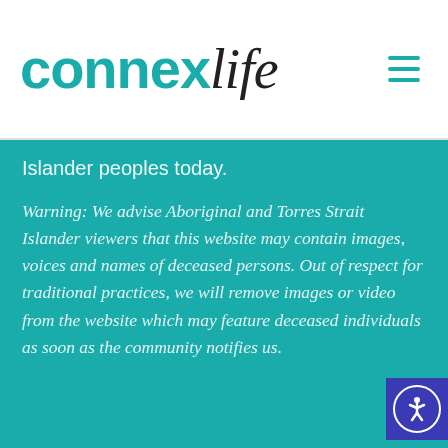[Figure (logo): Connex Life logo with 'connex' in teal bold and 'life' in dark italic serif, with hamburger menu icon on the right]
Islander peoples today.
Warning: We advise Aboriginal and Torres Strait Islander viewers that this website may contain images, voices and names of deceased persons. Out of respect for traditional practices, we will remove images or video from the website which may feature deceased individuals as soon as the community notifies us.